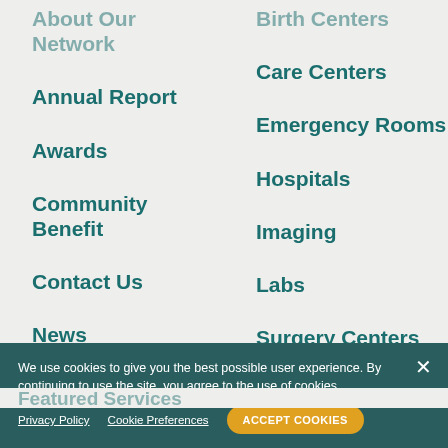Annual Report
Awards
Community Benefit
Contact Us
News
Giving
Care Centers
Emergency Rooms
Hospitals
Imaging
Labs
Surgery Centers
Urgent Care
We use cookies to give you the best possible user experience. By continuing to use the site, you agree to the use of cookies.
Privacy Policy   Cookie Preferences   ACCEPT COOKIES